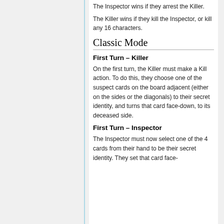The Inspector wins if they arrest the Killer.
The Killer wins if they kill the Inspector, or kill any 16 characters.
Classic Mode
First Turn – Killer
On the first turn, the Killer must make a Kill action. To do this, they choose one of the suspect cards on the board adjacent (either on the sides or the diagonals) to their secret identity, and turns that card face-down, to its deceased side.
First Turn – Inspector
The Inspector must now select one of the 4 cards from their hand to be their secret identity. They set that card face-